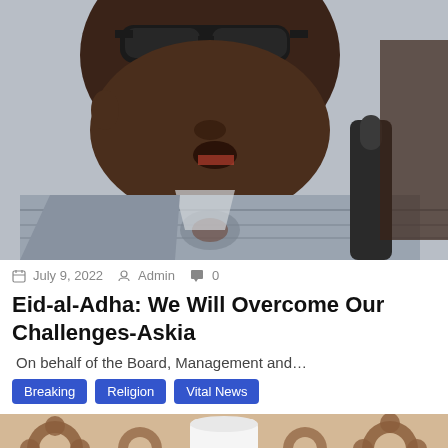[Figure (photo): Close-up photo of a dark-skinned man wearing sunglasses and a patterned grey agbada/traditional Nigerian attire, speaking into a microphone]
July 9, 2022  Admin  0
Eid-al-Adha: We Will Overcome Our Challenges-Askia
On behalf of the Board, Management and…
Breaking  Religion  Vital News
[Figure (photo): Partial photo showing brown and white patterned fabric/textile background]